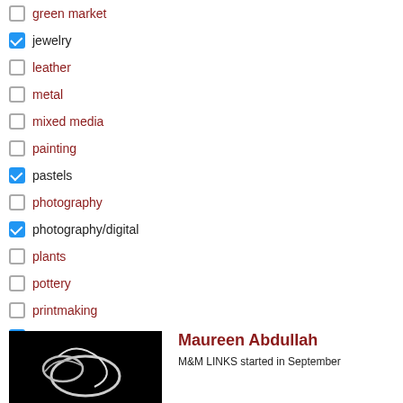green market (unchecked)
jewelry (checked)
leather (unchecked)
metal (unchecked)
mixed media (unchecked)
painting (unchecked)
pastels (checked)
photography (unchecked)
photography/digital (checked)
plants (unchecked)
pottery (unchecked)
printmaking (unchecked)
printmaking drawing (checked)
sculpture (unchecked)
soaps & lotions (checked)
stone (checked)
wood (unchecked)
[Figure (photo): Black and white photo of artwork showing abstract loops/rings on dark background]
Maureen Abdullah
M&M LINKS started in September